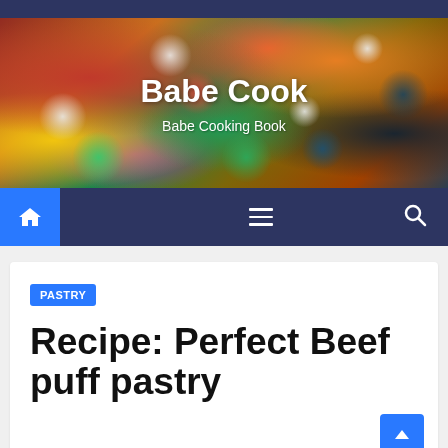Babe Cook – Babe Cooking Book
[Figure (photo): Pizza with colorful toppings including tomatoes, basil leaves, olives, onions, mushrooms and cheese as hero background image]
Babe Cook
Babe Cooking Book
PASTRY
Recipe: Perfect Beef puff pastry